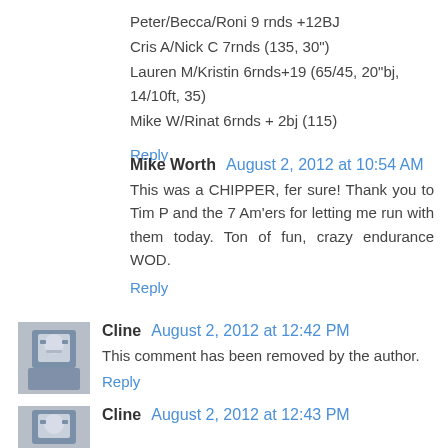Peter/Becca/Roni 9 rnds +12BJ
Cris A/Nick C 7rnds (135, 30")
Lauren M/Kristin 6rnds+19 (65/45, 20"bj, 14/10ft, 35)
Mike W/Rinat 6rnds + 2bj (115)
Reply
Mike Worth  August 2, 2012 at 10:54 AM
This was a CHIPPER, fer sure! Thank you to Tim P and the 7 Am'ers for letting me run with them today. Ton of fun, crazy endurance WOD.
Reply
[Figure (photo): Avatar image of Cline - person in uniform]
Cline  August 2, 2012 at 12:42 PM
This comment has been removed by the author.
Reply
[Figure (photo): Avatar image of Cline - person in uniform]
Cline  August 2, 2012 at 12:43 PM